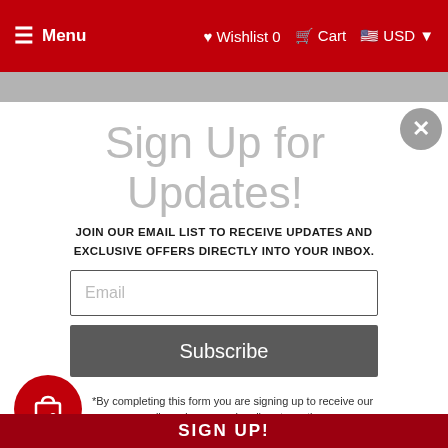Menu  Wishlist 0  Cart  USD
Nuvo Hybrid ink pads
nuvo ink
Sign Up for Updates!
JOIN OUR EMAIL LIST TO RECEIVE UPDATES AND EXCLUSIVE OFFERS DIRECTLY INTO YOUR INBOX.
Email
Subscribe
*By completing this form you are signing up to receive our emails and can unsubscribe at any time.
SIGN UP!